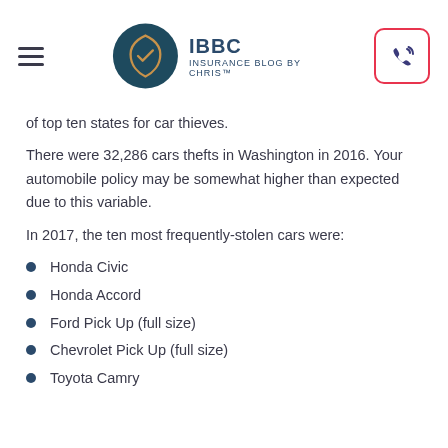IBBC INSURANCE BLOG BY CHRIS™
of top ten states for car thieves.
There were 32,286 cars thefts in Washington in 2016. Your automobile policy may be somewhat higher than expected due to this variable.
In 2017, the ten most frequently-stolen cars were:
Honda Civic
Honda Accord
Ford Pick Up (full size)
Chevrolet Pick Up (full size)
Toyota Camry